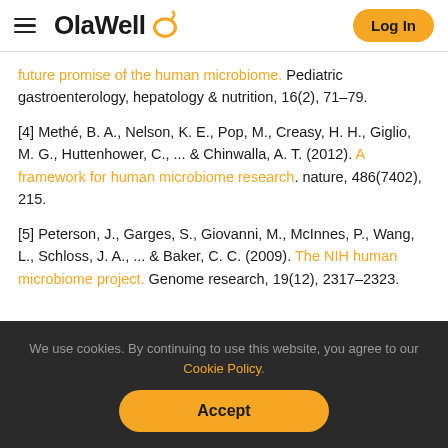OlaWell — Log In
future promise of the human microbiome. Pediatric gastroenterology, hepatology & nutrition, 16(2), 71–79.
[4] Methé, B. A., Nelson, K. E., Pop, M., Creasy, H. H., Giglio, M. G., Huttenhower, C., ... & Chinwalla, A. T. (2012). A framework for human microbiome research. nature, 486(7402), 215.
[5] Peterson, J., Garges, S., Giovanni, M., McInnes, P., Wang, L., Schloss, J. A., ... & Baker, C. C. (2009). The NIH human microbiome project. Genome research, 19(12), 2317–2323.
We use cookies. By continuing to use this website, you agree to our Cookie Policy.
Accept